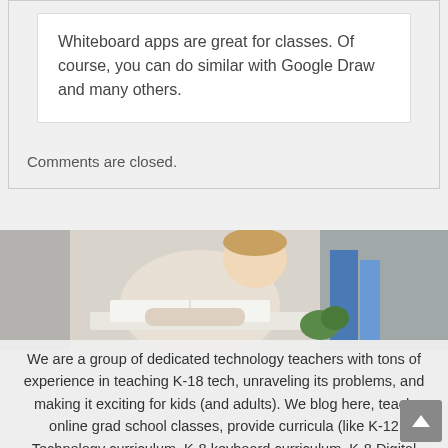Whiteboard apps are great for classes. Of course, you can do similar with Google Draw and many others.
Comments are closed.
[Figure (photo): A child (boy) sitting at a desk reading or writing in a book, viewed from the side. There are books and a plant visible in the background.]
We are a group of dedicated technology teachers with tons of experience in teaching K-18 tech, unraveling its problems, and making it exciting for kids (and adults). We blog here, teach online grad school classes, provide curricula (like K-12 Technology curriculum, K-8 keyboard curriculum, K-8 Digital Citizenship curriculum). Jacqui Murray (the face of AATT) also authors tech thrillers, To